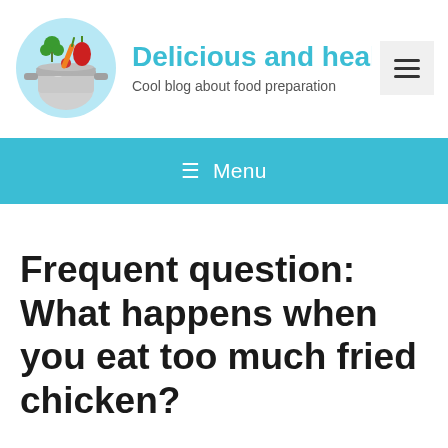[Figure (logo): Circular logo with a cooking pot and vegetables flying in the air on a light blue background]
Delicious and healthy
Cool blog about food preparation
[Figure (other): Hamburger menu button icon (three horizontal lines) on a light grey background]
≡ Menu
Frequent question: What happens when you eat too much fried chicken?